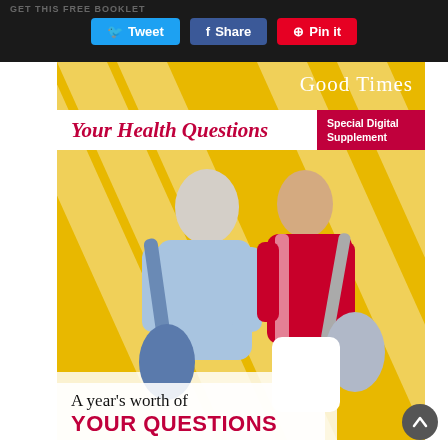GET THIS FREE BOOKLET
Tweet  Share  Pin it
[Figure (illustration): Magazine cover for Good Times 'Your Health Questions Special Digital Supplement' featuring an older couple in athletic wear holding gym bags, against a yellow background with diagonal stripe pattern. Text at bottom reads 'A year's worth of']
Good Times
Your Health Questions
Special Digital Supplement
A year's worth of